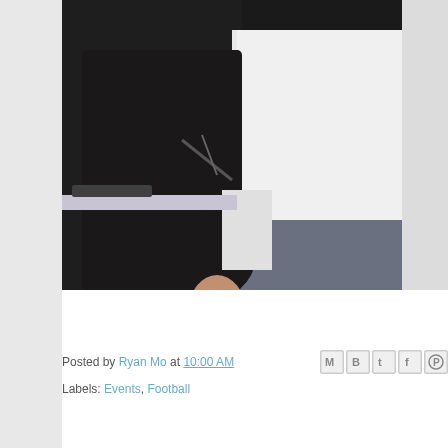[Figure (photo): A person in a white shirt and jeans sitting in a dark chair in an office environment, partially cropped. A desk with keyboard and monitor visible in background.]
Posted by Ryan Mo at 10:00 AM
Labels: Events, Football